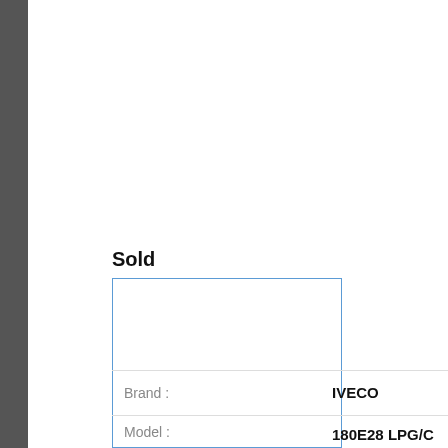Sold
[Figure (other): Blue-bordered rectangle (image placeholder area for sold item)]
| Field | Value |
| --- | --- |
| Brand : | IVECO |
| Model : | 180E28 LPG/C
11-2022
PUMP+METE |